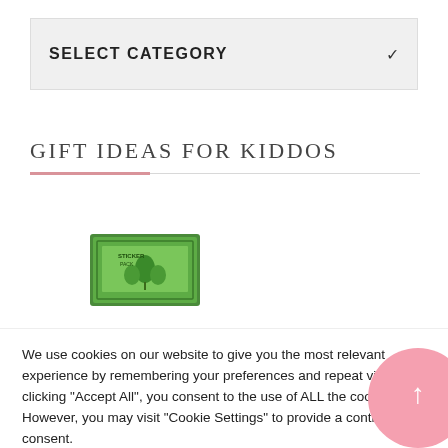SELECT CATEGORY
GIFT IDEAS FOR KIDDOS
[Figure (photo): Product image showing a green illustrated card or sticker pack with plant/leaf design]
We use cookies on our website to give you the most relevant experience by remembering your preferences and repeat visits. By clicking "Accept All", you consent to the use of ALL the cookies. However, you may visit "Cookie Settings" to provide a controlled consent.
Cookie Settings
Accept All